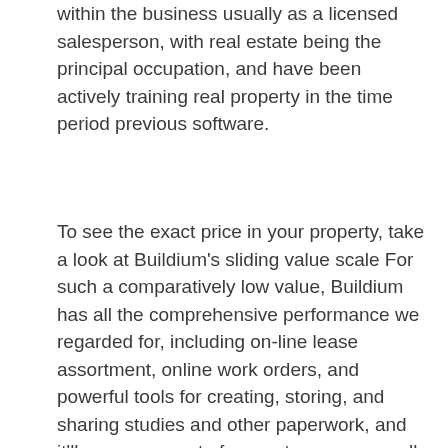within the business usually as a licensed salesperson, with real estate being the principal occupation, and have been actively training real property in the time period previous software.
To see the exact price in your property, take a look at Buildium's sliding value scale For such a comparatively low value, Buildium has all the comprehensive performance we regarded for, including on-line lease assortment, online work orders, and powerful tools for creating, storing, and sharing studies and other paperwork, and it'll serve any sort of property manager well.
Taking work orders and tenant info on the go is changing into more essential for property managers, however software companies have been unable to maintain up. There's a variety of essential performance that completely must work,â€ says Paul Belmore, a